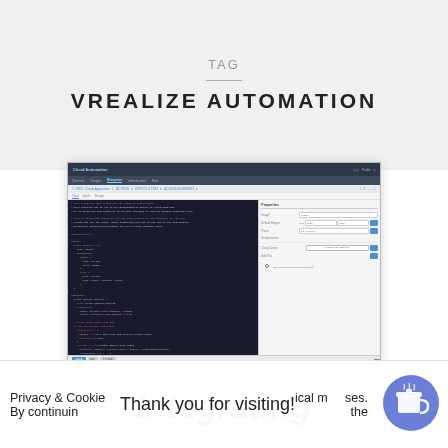TAG
VREALIZE AUTOMATION
[Figure (screenshot): Screenshot of vRealize Automation UI showing a code editor panel on the left with YAML/script content and a properties panel on the right with form fields including Name, Default Region, Flavor, Image, Requirements, Cloud Zones, and Add Ons. A dark navigation bar is at the top and action buttons are at the bottom.]
Integrating
Privacy & Cookie
Thank you for visiting!
ical m ses.
By continuin
the